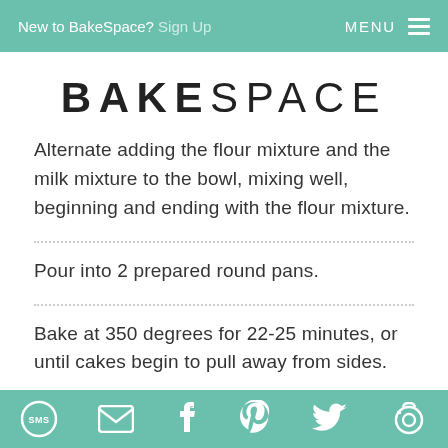New to BakeSpace? Sign Up    MENU
BAKESPACE
Alternate adding the flour mixture and the milk mixture to the bowl, mixing well, beginning and ending with the flour mixture.
Pour into 2 prepared round pans.
Bake at 350 degrees for 22-25 minutes, or until cakes begin to pull away from sides.
SMS  Email  Facebook  Pinterest  Twitter  Share